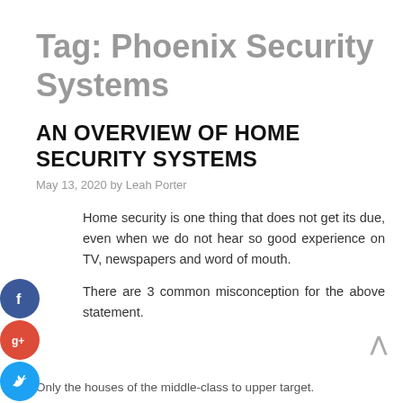Tag: Phoenix Security Systems
AN OVERVIEW OF HOME SECURITY SYSTEMS
May 13, 2020 by Leah Porter
Home security is one thing that does not get its due, even when we do not hear so good experience on TV, newspapers and word of mouth.
There are 3 common misconception for the above statement.
Only the houses of the middle-class to upper target.